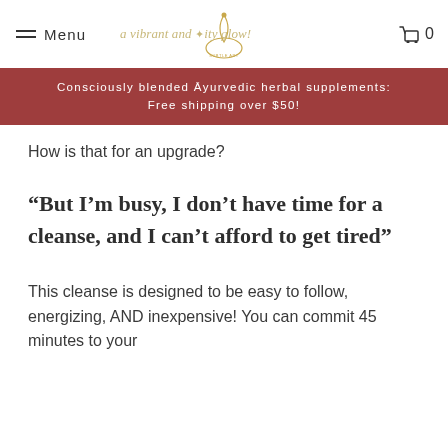Menu | [logo] | Cart 0
Consciously blended Āyurvedic herbal supplements: Free shipping over $50!
How is that for an upgrade?
“But I’m busy, I don’t have time for a cleanse, and I can’t afford to get tired”
This cleanse is designed to be easy to follow, energizing, AND inexpensive! You can commit 45 minutes to your